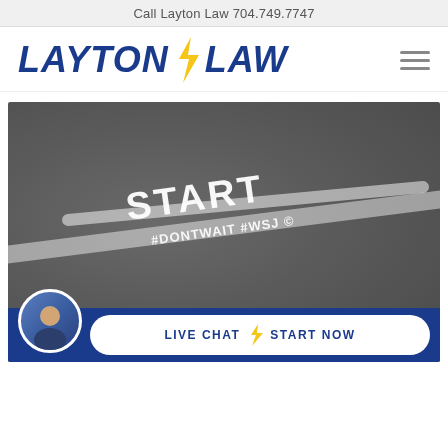Call Layton Law 704.749.7747
[Figure (logo): Layton Law logo with lightning bolt in yellow, text in bold italic dark blue. Hamburger menu icon on the right.]
[Figure (photo): Photo of a starting line painted on asphalt pavement with the word START and hashtags #DONTWAIT #WSJ written in white.]
[Figure (other): Live Chat bar with attorney avatar photo, white rounded button reading LIVE CHAT with lightning bolt divider and START NOW text, on dark blue background.]